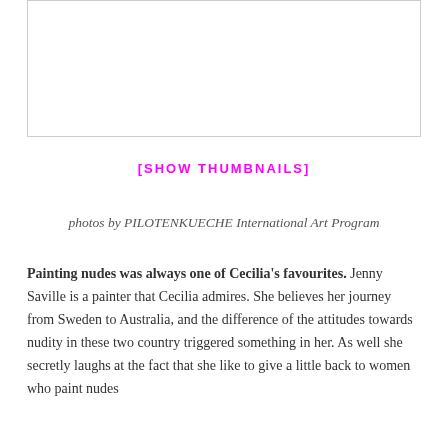[Figure (other): Empty white image box with border]
[SHOW THUMBNAILS]
photos by PILOTENKUECHE International Art Program
Painting nudes was always one of Cecilia's favourites. Jenny Saville is a painter that Cecilia admires. She believes her journey from Sweden to Australia, and the difference of the attitudes towards nudity in these two country triggered something in her. As well she secretly laughs at the fact that she like to give a little back to women who paint nudes